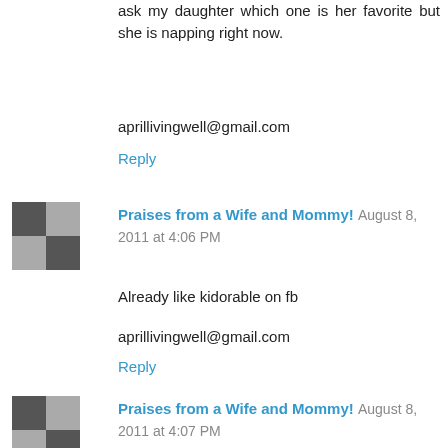ask my daughter which one is her favorite but she is napping right now.
aprillivingwell@gmail.com
Reply
Praises from a Wife and Mommy!  August 8, 2011 at 4:06 PM
Already like kidorable on fb
aprillivingwell@gmail.com
Reply
Praises from a Wife and Mommy!  August 8, 2011 at 4:07 PM
Twitter follower #1- @apesjoy
aprillivingwell@gmail.com
Reply